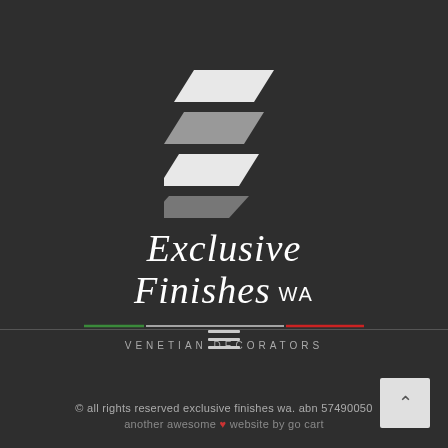[Figure (logo): Exclusive Finishes WA logo with parallelogram stripe graphic icon above scripted text reading 'Exclusive Finishes WA', with Italian tricolor underline and 'VENETIAN DECORATORS' subtitle]
[Figure (other): Hamburger menu icon with three horizontal lines]
© all rights reserved exclusive finishes wa. abn 57490050... another awesome ❤ website by go cart